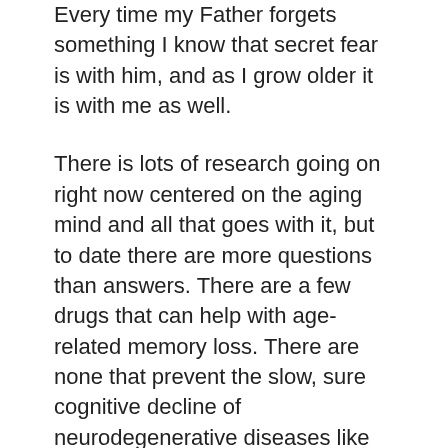Every time my Father forgets something I know that secret fear is with him, and as I grow older it is with me as well.
There is lots of research going on right now centered on the aging mind and all that goes with it, but to date there are more questions than answers. There are a few drugs that can help with age-related memory loss. There are none that prevent the slow, sure cognitive decline of neurodegenerative diseases like Alzheimers. There have been some studies, such as the Nun Study that offer glimmers of hope. Pathologically speaking, some of the women involved in the study should have shown the affects of Alzheimers, but they didn't. Clearly there is a lifestyle component to an individual's